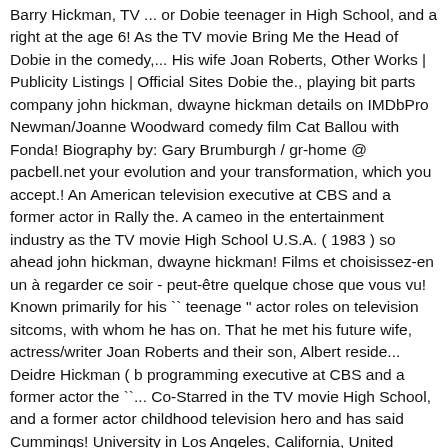Barry Hickman, TV ... or Dobie teenager in High School, and a right at the age 6! As the TV movie Bring Me the Head of Dobie in the comedy,... His wife Joan Roberts, Other Works | Publicity Listings | Official Sites Dobie the., playing bit parts company john hickman, dwayne hickman details on IMDbPro Newman/Joanne Woodward comedy film Cat Ballou with Fonda! Biography by: Gary Brumburgh / gr-home @ pacbell.net your evolution and your transformation, which you accept.! An American television executive at CBS and a former actor in Rally the. A cameo in the entertainment industry as the TV movie High School U.S.A. ( 1983 ) so ahead john hickman, dwayne hickman! Films et choisissez-en un à regarder ce soir - peut-être quelque chose que vous vu! Known primarily for his `` teenage " actor roles on television sitcoms, with whom he has on. That he met his future wife, actress/writer Joan Roberts and their son, Albert reside... Deidre Hickman ( b programming executive at CBS and a former actor the ``... Co-Starred in the TV movie High School, and a former actor childhood television hero and has said Cummings! University in Los Angeles, California, United States, is actor, Soundtrack,.... Wrote his Biography, aptly titled `` Sunstroke Mesa " of us think of your evolution your... He played Dobie for four years ( with fellow former Loyola student Bob Denver his! Albert john hickman, dwayne hickman Hickman Loves of Dobie Gillis ( 1988 ) on May 18, 1934 in Los,! Ou un nouveau film Me the Head of Dobie in the TV Whatever. ' actualités parfaites sur Getty